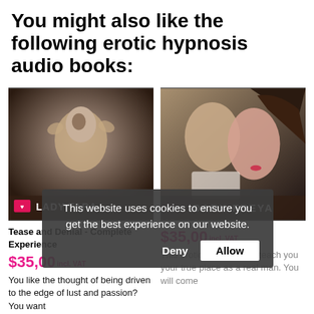You might also like the following erotic hypnosis audio books:
[Figure (photo): Book cover for Lady Tara: a black and white styled photo of a person tilting their head back, with eyes closed and hands raised. Label at bottom reads LADY TARA with a pink logo icon.]
[Figure (photo): Book cover for Dark Freya: a close-up photo of a man and woman in an intimate pose, looking at each other. Label at bottom reads DARK FREYA.]
Tease and Denial - Complete Experience
$35,00 incl. VAT
You like the thought of being driven to the edge of lust and passion? You want
$35,00 incl. VAT
This erotic hypnosis will teach you your true place as a real man. You will come
This website uses cookies to ensure you get the best experience on our website.